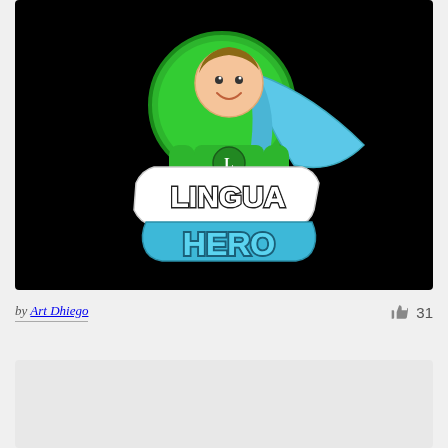[Figure (logo): Lingua Hero logo: a cartoon superhero in green costume with blue cape and 'L' emblem on chest, set against black background. White bold text reads 'LINGUA' and blue text reads 'HERO'.]
by Art Dhiego
31
[Figure (other): A second image area shown as a light gray placeholder rectangle.]